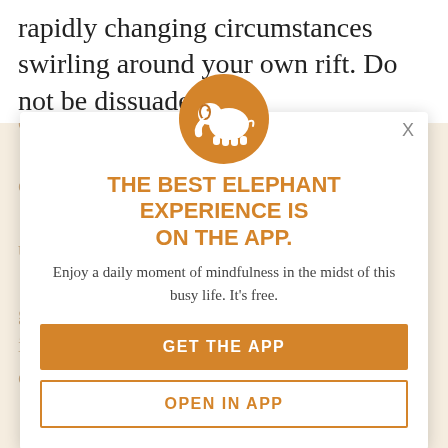rapidly changing circumstances swirling around your own rift.  Do not be dissuaded
[Figure (infographic): Elephant Journal app promotion modal overlay. Contains orange circle with white elephant logo, headline 'THE BEST ELEPHANT EXPERIENCE IS ON THE APP.', subtext 'Enjoy a daily moment of mindfulness in the midst of this busy life. It's free.', a solid orange 'GET THE APP' button, and an outlined 'OPEN IN APP' button. Background shows faded article text.]
THE BEST ELEPHANT EXPERIENCE IS ON THE APP.
Enjoy a daily moment of mindfulness in the midst of this busy life. It's free.
GET THE APP
OPEN IN APP